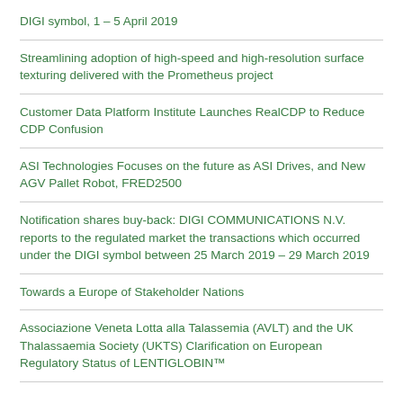DIGI symbol, 1 – 5 April 2019
Streamlining adoption of high-speed and high-resolution surface texturing delivered with the Prometheus project
Customer Data Platform Institute Launches RealCDP to Reduce CDP Confusion
ASI Technologies Focuses on the future as ASI Drives, and New AGV Pallet Robot, FRED2500
Notification shares buy-back: DIGI COMMUNICATIONS N.V. reports to the regulated market the transactions which occurred under the DIGI symbol between 25 March 2019 – 29 March 2019
Towards a Europe of Stakeholder Nations
Associazione Veneta Lotta alla Talassemia (AVLT) and the UK Thalassaemia Society (UKTS) Clarification on European Regulatory Status of LENTIGLOBIN™